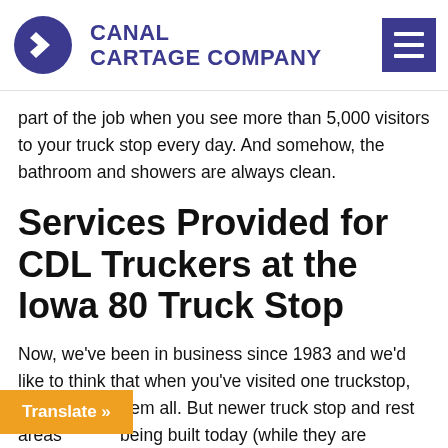Canal Cartage Company
part of the job when you see more than 5,000 visitors to your truck stop every day.  And somehow, the bathroom and showers are always clean.
Services Provided for CDL Truckers at the Iowa 80 Truck Stop
Now, we've been in business since 1983 and we'd like to think that when you've visited one truckstop, you've seen them all.  But newer truck stop and rest areas being built today (while they are cannot even compare to the amazing